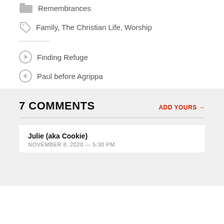Remembrances
Family,  The Christian Life,  Worship
Finding Refuge
Paul before Agrippa
7 COMMENTS
ADD YOURS →
Julie (aka Cookie)
NOVEMBER 8, 2020 — 5:30 PM